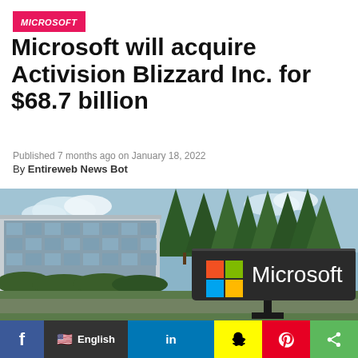MICROSOFT
Microsoft will acquire Activision Blizzard Inc. for $68.7 billion
Published 7 months ago on January 18, 2022
By Entireweb News Bot
[Figure (photo): Microsoft campus building with large Microsoft logo sign featuring the four-color Windows logo, surrounded by trees and landscaping]
f  English  in  [Snapchat icon]  [Pinterest icon]  [Share icon]